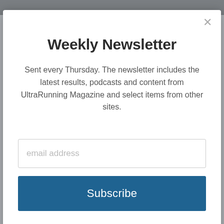Weekly Newsletter
Sent every Thursday. The newsletter includes the latest results, podcasts and content from UltraRunning Magazine and select items from other sites.
| Overall | Gender | Name / Category | Time |
| --- | --- | --- | --- |
| 225 | 172 | Rod Dickson
M 70+ | 7:58:40 |
| 226 | 173 | Gary Eldridge
M 50-59 | 7:59:49 |
|  |  | Jim Ruppert |  |